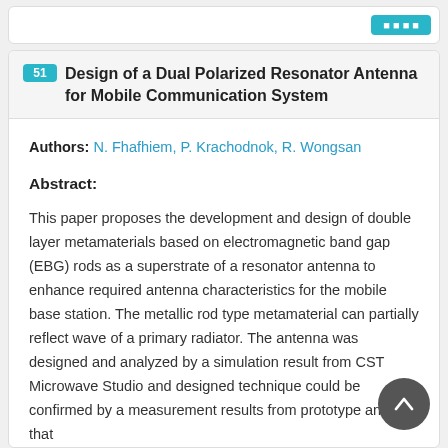51 Design of a Dual Polarized Resonator Antenna for Mobile Communication System
Authors: N. Fhafhiem, P. Krachodnok, R. Wongsan
Abstract:
This paper proposes the development and design of double layer metamaterials based on electromagnetic band gap (EBG) rods as a superstrate of a resonator antenna to enhance required antenna characteristics for the mobile base station. The metallic rod type metamaterial can partially reflect wave of a primary radiator. The antenna was designed and analyzed by a simulation result from CST Microwave Studio and designed technique could be confirmed by a measurement results from prototype antenna that